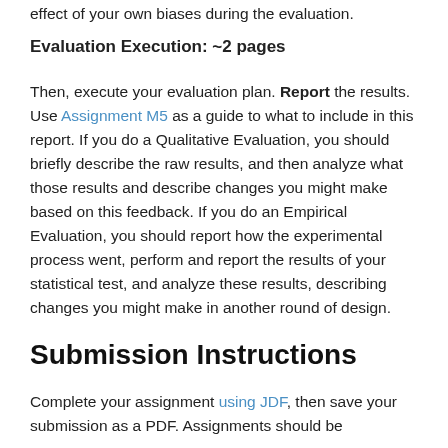effect of your own biases during the evaluation.
Evaluation Execution: ~2 pages
Then, execute your evaluation plan. Report the results. Use Assignment M5 as a guide to what to include in this report. If you do a Qualitative Evaluation, you should briefly describe the raw results, and then analyze what those results and describe changes you might make based on this feedback. If you do an Empirical Evaluation, you should report how the experimental process went, perform and report the results of your statistical test, and analyze these results, describing changes you might make in another round of design.
Submission Instructions
Complete your assignment using JDF, then save your submission as a PDF. Assignments should be